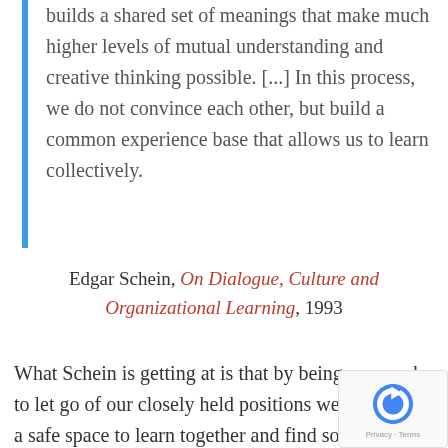builds a shared set of meanings that make much higher levels of mutual understanding and creative thinking possible. [...] In this process, we do not convince each other, but build a common experience base that allows us to learn collectively.
Edgar Schein, On Dialogue, Culture and Organizational Learning, 1993
What Schein is getting at is that by being prepared to let go of our closely held positions we can create a safe space to learn together and find solutions to our problems. To build trust first we have to be